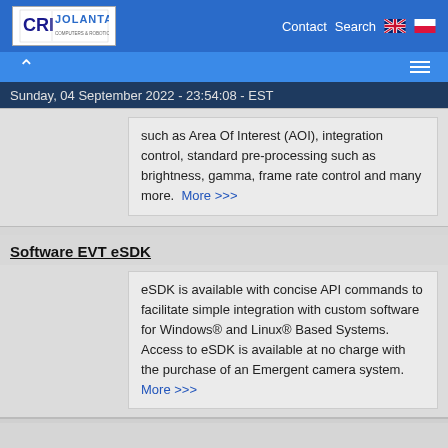CRI JOLANTA - COMPUTERS & ROBOTICS INSTITUTE | Contact | Search
Sunday, 04 September 2022 - 23:54:08 - EST
such as Area Of Interest (AOI), integration control, standard pre-processing such as brightness, gamma, frame rate control and many more.  More >>>
Software EVT eSDK
eSDK is available with concise API commands to facilitate simple integration with custom software for Windows® and Linux® Based Systems. Access to eSDK is available at no charge with the purchase of an Emergent camera system.  More >>>